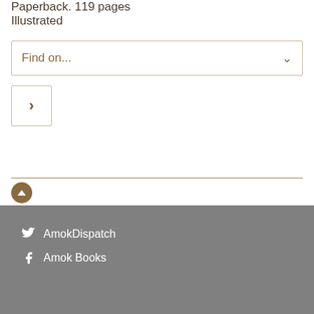Paperback. 119 pages
Illustrated
Find on...
>
^ (scroll to top)
AmokDispatch
Amok Books